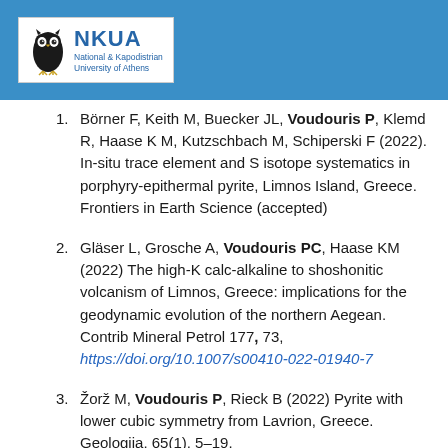[Figure (logo): NKUA - National & Kapodistrian University of Athens logo with owl illustration on blue header bar]
Börner F, Keith M, Buecker JL, Voudouris P, Klemd R, Haase K M, Kutzschbach M, Schiperski F (2022). In-situ trace element and S isotope systematics in porphyry-epithermal pyrite, Limnos Island, Greece. Frontiers in Earth Science (accepted)
Gläser L, Grosche A, Voudouris PC, Haase KM (2022) The high-K calc-alkaline to shoshonitic volcanism of Limnos, Greece: implications for the geodynamic evolution of the northern Aegean. Contrib Mineral Petrol 177, 73, https://doi.org/10.1007/s00410-022-01940-7
Žorž M, Voudouris P, Rieck B (2022) Pyrite with lower cubic symmetry from Lavrion, Greece. Geologija, 65(1), 5–19.